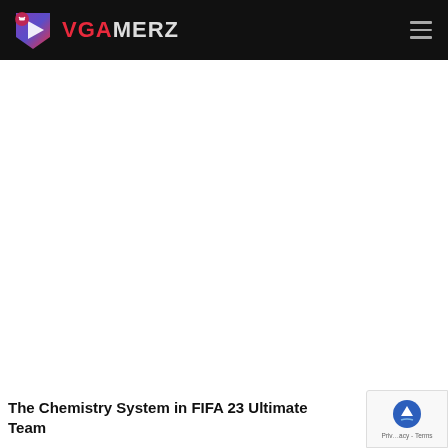VGAMERZ
The Chemistry System in FIFA 23 Ultimate Team